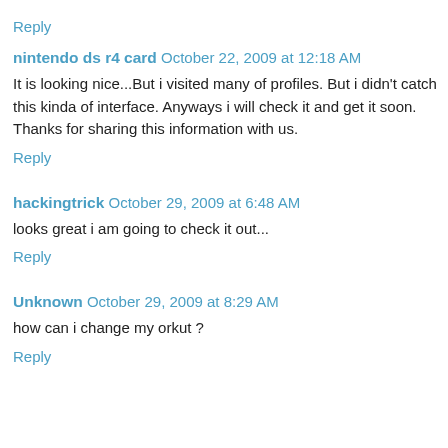Reply
nintendo ds r4 card  October 22, 2009 at 12:18 AM
It is looking nice...But i visited many of profiles. But i didn't catch this kinda of interface. Anyways i will check it and get it soon. Thanks for sharing this information with us.
Reply
hackingtrick  October 29, 2009 at 6:48 AM
looks great i am going to check it out...
Reply
Unknown  October 29, 2009 at 8:29 AM
how can i change my orkut ?
Reply